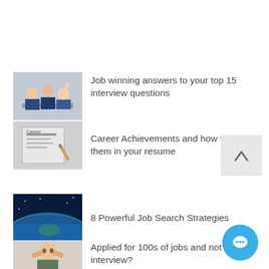[Figure (photo): Group of people at a meeting/interview, business setting]
Job winning answers to your top 15 interview questions
[Figure (photo): Close-up of a resume/career document with pen]
Career Achievements and how to present them in your resume
[Figure (photo): Aerial satellite view of Earth/island from space]
8 Powerful Job Search Strategies
[Figure (photo): Man holding his head in stress/frustration]
Applied for 100s of jobs and not one interview?